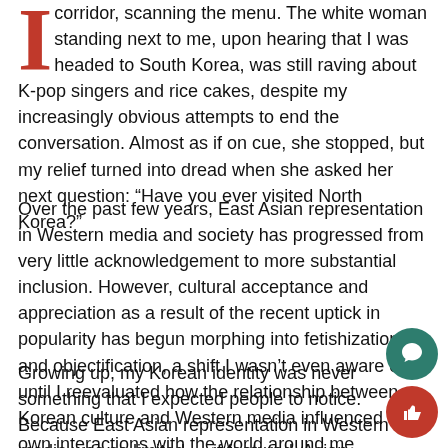I corridor, scanning the menu. The white woman standing next to me, upon hearing that I was headed to South Korea, was still raving about K-pop singers and rice cakes, despite my increasingly obvious attempts to end the conversation. Almost as if on cue, she stopped, but my relief turned into dread when she asked her next question: “Have you ever visited North Korea?”
Over the past few years, East Asian representation in Western media and society has progressed from very little acknowledgement to more substantial inclusion. However, cultural acceptance and appreciation as a result of the recent uptick in popularity has begun morphing into fetishization and objectification, a shift I wasn’t even aware of until I reevaluated how the relationship between Korean culture and Western media influenced my own interactions with the world around me.
Growing up, my Korean identity was never something that I expected people to notice. Because East Asian representation in Western media was so limited — if featured, Asian characters often limited to stereotypes or small supporting roles— I had to